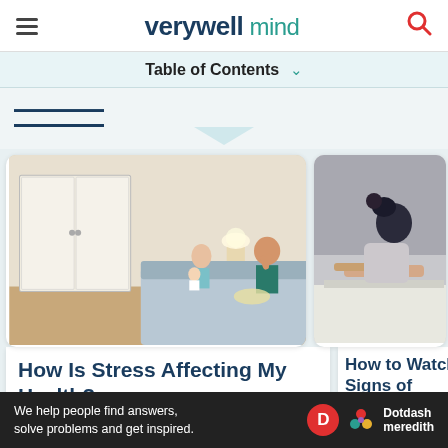verywell mind
Table of Contents
[Figure (photo): Stressed couple in bedroom — woman holding baby sitting on bed, man sitting with head in hands]
How Is Stress Affecting My Health?
[Figure (photo): Person hunched over, showing signs of burnout]
How to Watch Signs of Burnout in Your Life
We help people find answers, solve problems and get inspired. Dotdash meredith